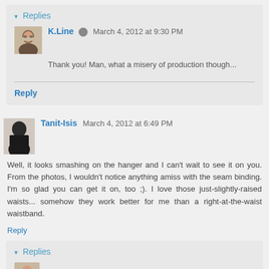▾ Replies
K.Line  March 4, 2012 at 9:30 PM
Thank you! Man, what a misery of production though...
Reply
Tanit-Isis  March 4, 2012 at 6:49 PM
Well, it looks smashing on the hanger and I can't wait to see it on you. From the photos, I wouldn't notice anything amiss with the seam binding. I'm so glad you can get it on, too ;). I love those just-slightly-raised waists... somehow they work better for me than a right-at-the-waist waistband.
Reply
▾ Replies
K.Line  March 4, 2012 at 9:31 PM